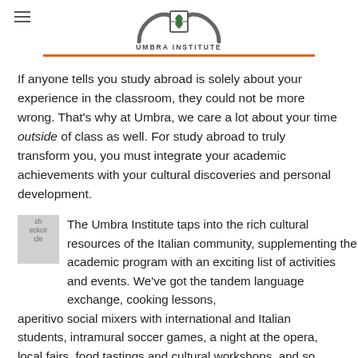UMBRA INSTITUTE
If anyone tells you study abroad is solely about your experience in the classroom, they could not be more wrong. That's why at Umbra, we care a lot about your time outside of class as well. For study abroad to truly transform you, you must integrate your academic achievements with your cultural discoveries and personal development.
The Umbra Institute taps into the rich cultural resources of the Italian community, supplementing the academic program with an exciting list of activities and events. We've got the tandem language exchange, cooking lessons, aperitivo social mixers with international and Italian students, intramural soccer games, a night at the opera, local fairs, food tastings and cultural workshops, and so